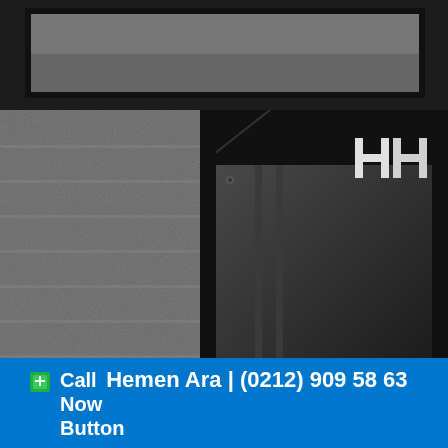[Figure (photo): Top portion showing a dark metal framed window or panel with gray/black coloring]
[Figure (photo): Close-up photo of a dark gray textured wall on the left with a black metal door/window frame and glass panel. An HH logo handle/hardware is visible on the upper right portion of the frame. Vertical metal bars run along the glass. A diagonal cut-corner detail is visible at the frame junction.]
Call Now Hemen Ara | (0212) 909 58 63 Button